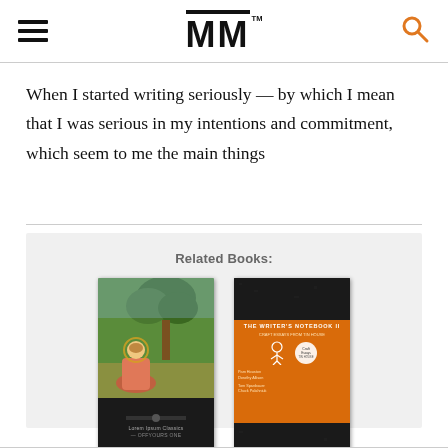MM
When I started writing seriously — by which I mean that I was serious in my intentions and commitment, which seem to me the main things
Related Books:
[Figure (illustration): Book cover 1: Penguin Classics style with medieval painting of a figure seated outdoors]
[Figure (illustration): Book cover 2: The Writer's Notebook, black and orange cover with small illustrations]